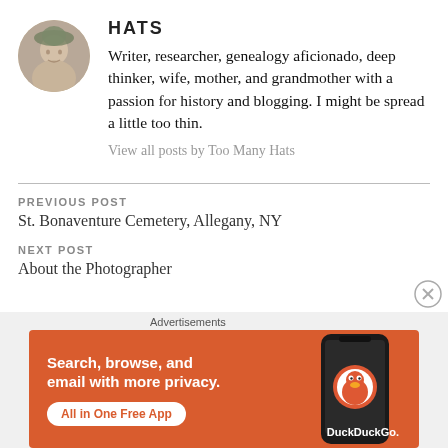[Figure (photo): Circular avatar photo of a woman wearing a decorative hat, styled as a profile picture]
HATS
Writer, researcher, genealogy aficionado, deep thinker, wife, mother, and grandmother with a passion for history and blogging. I might be spread a little too thin.
View all posts by Too Many Hats
PREVIOUS POST
St. Bonaventure Cemetery, Allegany, NY
NEXT POST
About the Photographer
[Figure (infographic): DuckDuckGo advertisement banner with orange background showing 'Search, browse, and email with more privacy. All in One Free App' with phone image and DuckDuckGo logo]